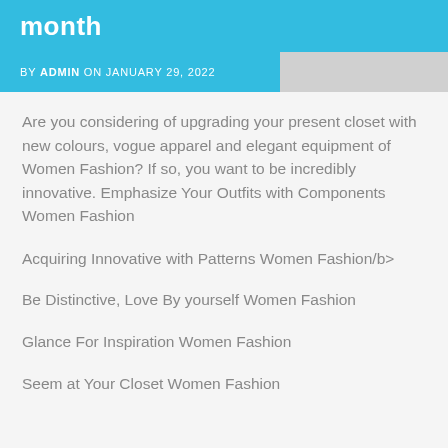month
BY ADMIN ON JANUARY 29, 2022
Are you considering of upgrading your present closet with new colours, vogue apparel and elegant equipment of Women Fashion? If so, you want to be incredibly innovative. Emphasize Your Outfits with Components Women Fashion
Acquiring Innovative with Patterns Women Fashion/b>
Be Distinctive, Love By yourself Women Fashion
Glance For Inspiration Women Fashion
Seem at Your Closet Women Fashion